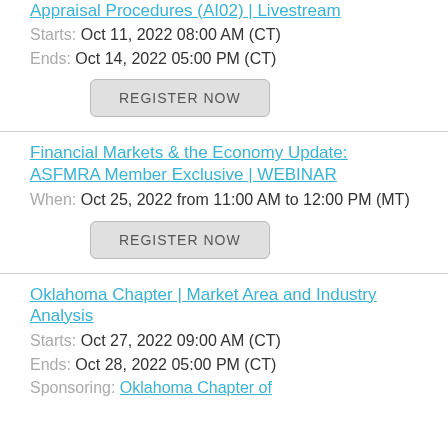Appraisal Procedures (AI02) | Livestream
Starts: Oct 11, 2022 08:00 AM (CT)
Ends: Oct 14, 2022 05:00 PM (CT)
REGISTER NOW
Financial Markets & the Economy Update: ASFMRA Member Exclusive | WEBINAR
When: Oct 25, 2022 from 11:00 AM to 12:00 PM (MT)
REGISTER NOW
Oklahoma Chapter | Market Area and Industry Analysis
Starts: Oct 27, 2022 09:00 AM (CT)
Ends: Oct 28, 2022 05:00 PM (CT)
Sponsoring: Oklahoma Chapter of...